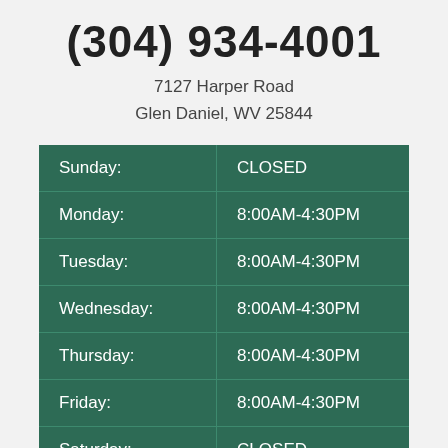(304) 934-4001
7127 Harper Road
Glen Daniel, WV 25844
| Day | Hours |
| --- | --- |
| Sunday: | CLOSED |
| Monday: | 8:00AM-4:30PM |
| Tuesday: | 8:00AM-4:30PM |
| Wednesday: | 8:00AM-4:30PM |
| Thursday: | 8:00AM-4:30PM |
| Friday: | 8:00AM-4:30PM |
| Saturday: | CLOSED |